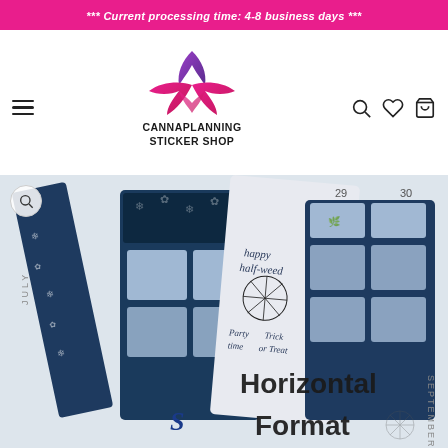*** Current processing time: 4-8 business days ***
[Figure (logo): CannaPlanning Sticker Shop logo with cannabis leaf/triquetra design in pink and purple, with text 'CANNAPLANNING STICKER SHOP']
[Figure (photo): Product photo showing Halloween-themed planner sticker kits in dark teal/blue with cannabis leaf designs, spider webs, and text 'happy half-weed', 'Horizontal Format' overlaid in bottom right]